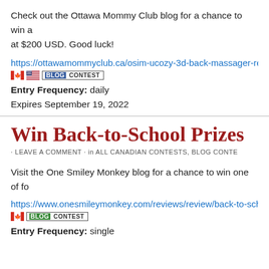Check out the Ottawa Mommy Club blog for a chance to win a ... at $200 USD. Good luck!
https://ottawamommyclub.ca/osim-ucozy-3d-back-massager-re...
Entry Frequency: daily
Expires September 19, 2022
Win Back-to-School Prizes
· LEAVE A COMMENT · in ALL CANADIAN CONTESTS, BLOG CONTE...
Visit the One Smiley Monkey blog for a chance to win one of fo...
https://www.onesmileymonkey.com/reviews/review/back-to-sch...
Entry Frequency: single